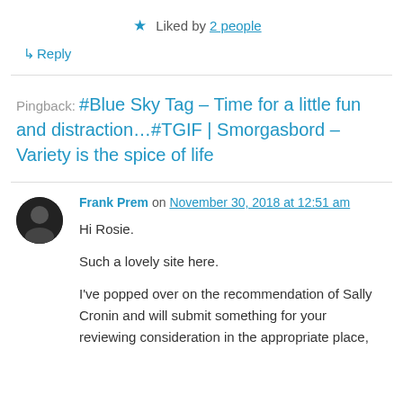★ Liked by 2 people
↳ Reply
Pingback: #Blue Sky Tag – Time for a little fun and distraction…#TGIF | Smorgasbord – Variety is the spice of life
Frank Prem on November 30, 2018 at 12:51 am
Hi Rosie.

Such a lovely site here.

I've popped over on the recommendation of Sally Cronin and will submit something for your reviewing consideration in the appropriate place,